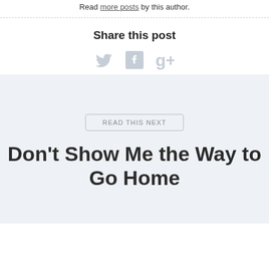Read more posts by this author.
Share this post
[Figure (illustration): Social media share icons: Twitter bird, Facebook F, Google+ g+ in light gray]
READ THIS NEXT
Don't Show Me the Way to Go Home